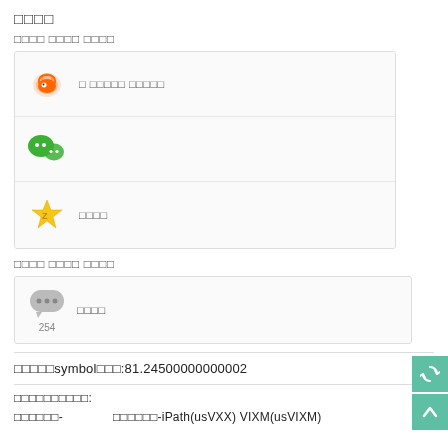□□□□
□□□□ □□□□ □□□□
[Figure (illustration): Weibo orange logo icon in a light grey box]
□ □□□□□ □□□□□
[Figure (illustration): WeChat green logo icon in a light grey box]
[Figure (illustration): Yellow star (Zhaobao) icon in a light grey box]
□□□□
□□□□ □□□□ □□□□
[Figure (illustration): Grey chat bubble icon with 254 comment count]
□□□□
□□□□□symbol□□□:81.24500000000002
□□□□□□□□□□:
□□□□□□-                    □□□□□□-iPath(usVXX) VIXM(usVIXM)